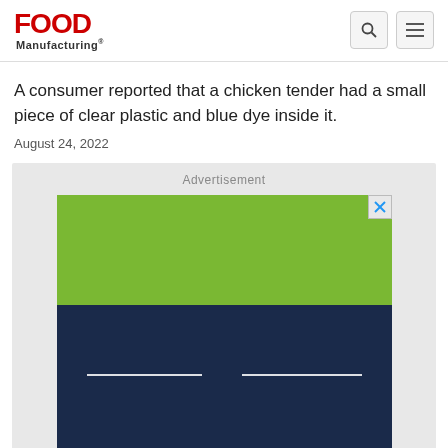FOOD Manufacturing
A consumer reported that a chicken tender had a small piece of clear plastic and blue dye inside it.
August 24, 2022
[Figure (other): Advertisement banner with green upper section and dark navy blue lower section, featuring two white horizontal lines in the navy area and a close (X) button in top-right corner.]